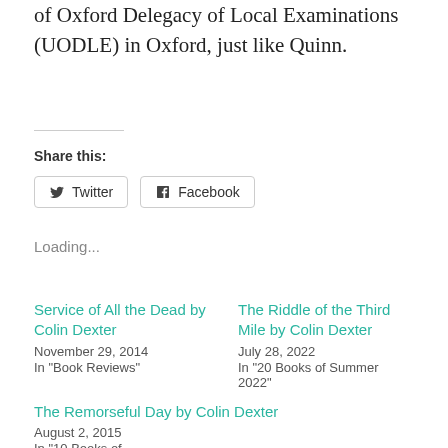of Oxford Delegacy of Local Examinations (UODLE) in Oxford, just like Quinn.
Share this:
[Figure (other): Twitter and Facebook share buttons]
Loading...
Service of All the Dead by Colin Dexter
November 29, 2014
In "Book Reviews"
The Riddle of the Third Mile by Colin Dexter
July 28, 2022
In "20 Books of Summer 2022"
The Remorseful Day by Colin Dexter
August 2, 2015
In "10 Books of..."